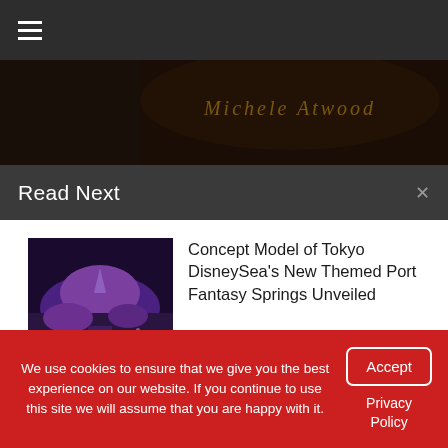[Figure (screenshot): Dark navigation bar with hamburger menu icon]
[Figure (photo): Article header image with stylized golden italic text 'Michele Atwood' on dark background]
Read Next
[Figure (photo): Thumbnail of Tokyo DisneySea concept model showing Fantasy Springs theme port with purple-lit landscape]
Concept Model of Tokyo DisneySea's New Themed Port Fantasy Springs Unveiled
April 16, 2021  0
[Figure (photo): Thumbnail of Disneyland castle with blue sky and sunrise colors]
Check Out These Disney Sunrise Views from Around the
We use cookies to ensure that we give you the best experience on our website. If you continue to use this site we will assume that you are happy with it.